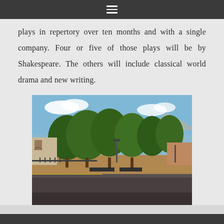plays in repertory over ten months and with a single company. Four or five of those plays will be by Shakespeare. The others will include classical world drama and new writing.
[Figure (photo): Outdoor plaza or park area with trees, benches, and buildings visible. Blue sky with clouds and mountains in the background. Yellow curb visible in foreground.]